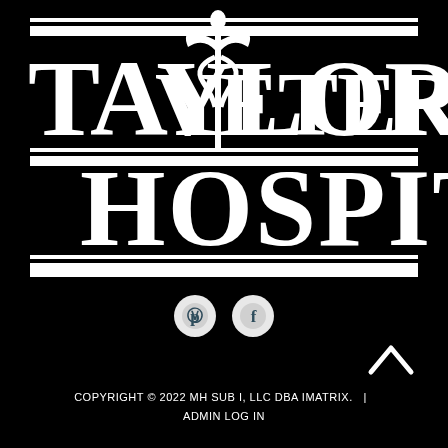[Figure (logo): Taylor Veterinary Hospital logo — white serif stylized text on black background with decorative horizontal rules and a caduceus figure between the words]
[Figure (other): Social media icons: Pinterest (P in circle) and Facebook (f in circle), light grey circles on black background]
[Figure (other): Up/back-to-top chevron arrow in white on black background, bottom right area]
COPYRIGHT © 2022 MH SUB I, LLC DBA IMATRIX.  |  ADMIN LOG IN